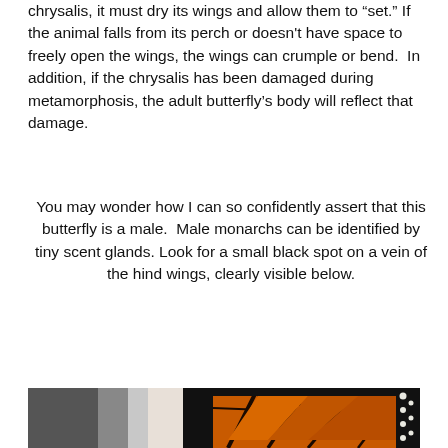chrysalis, it must dry its wings and allow them to "set." If the animal falls from its perch or doesn't have space to freely open the wings, the wings can crumple or bend.  In addition, if the chrysalis has been damaged during metamorphosis, the adult butterfly's body will reflect that damage.
You may wonder how I can so confidently assert that this butterfly is a male.  Male monarchs can be identified by tiny scent glands. Look for a small black spot on a vein of the hind wings, clearly visible below.
[Figure (photo): Close-up photograph of a monarch butterfly showing orange and black wing pattern with white spots along the wing edges, clearly showing the hind wing area.]